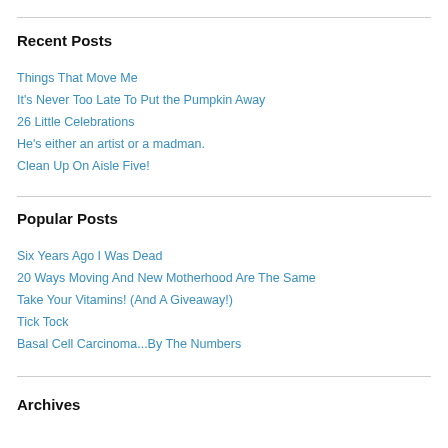Recent Posts
Things That Move Me
It's Never Too Late To Put the Pumpkin Away
26 Little Celebrations
He's either an artist or a madman.
Clean Up On Aisle Five!
Popular Posts
Six Years Ago I Was Dead
20 Ways Moving And New Motherhood Are The Same
Take Your Vitamins! (And A Giveaway!)
Tick Tock
Basal Cell Carcinoma...By The Numbers
Archives